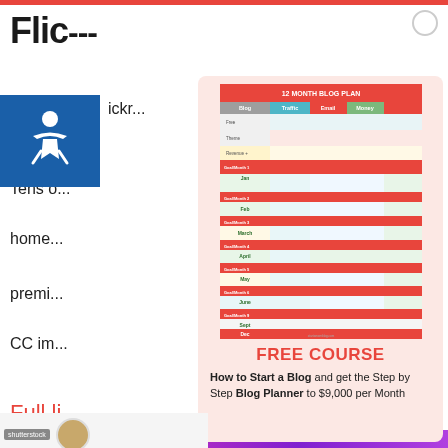Flic...
[Figure (screenshot): 12 Month Blog Plan infographic/table with columns: Blog, Traffic, Email, Money, and rows for each month Jan-Dec with colorful cells]
FREE COURSE
How to Start a Blog and get the Step by Step Blog Planner to $9,000 per Month
ickr...
and o...
Tens o...
home...
premi...
CC im...
Full li...